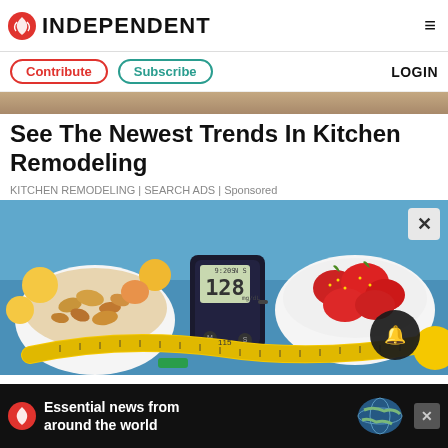INDEPENDENT
Contribute | Subscribe | LOGIN
[Figure (photo): Tan/brown banner image strip at top of article]
See The Newest Trends In Kitchen Remodeling
KITCHEN REMODELING | SEARCH ADS | Sponsored
[Figure (photo): Photo of a blood glucose meter displaying 128, surrounded by bowls of cereal and strawberries, fruit, and a yellow measuring tape on a blue background]
Essential news from around the world